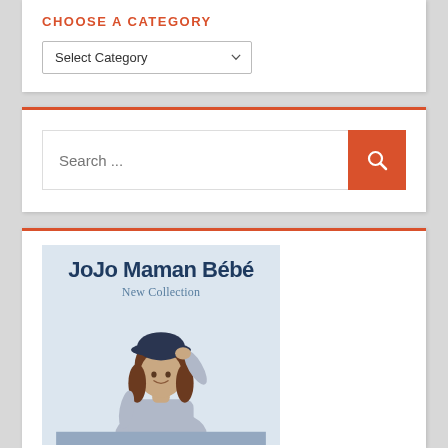CHOOSE A CATEGORY
Select Category
[Figure (screenshot): Search input box with orange search button containing a magnifying glass icon]
[Figure (illustration): JoJo Maman Bébé New Collection banner with a woman wearing a dark cap and grey sweater against a light blue background]